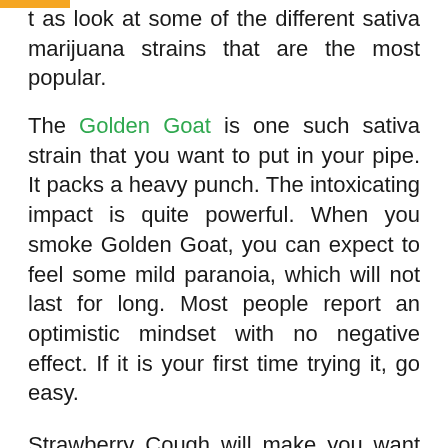t as look at some of the different sativa marijuana strains that are the most popular.
The Golden Goat is one such sativa strain that you want to put in your pipe. It packs a heavy punch. The intoxicating impact is quite powerful. When you smoke Golden Goat, you can expect to feel some mild paranoia, which will not last for long. Most people report an optimistic mindset with no negative effect. If it is your first time trying it, go easy.
Strawberry Cough will make you want to move. How? You will feel as if you want to conquer the world. This is the time when you will tackle lots of housework, run errands and want to just keep going. I has a smooth and fruity taste when smoking. Make sure you